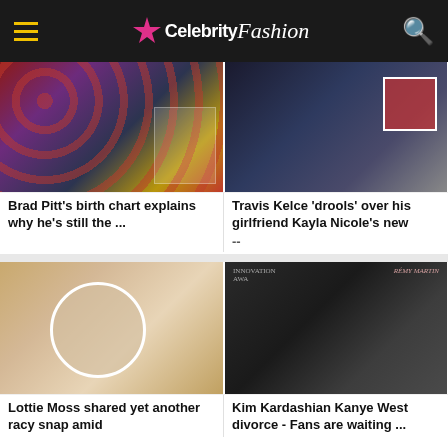CelebrityFashion
[Figure (photo): Brad Pitt with Angelina Jolie and Jennifer Aniston collage on red background with lip prints]
Brad Pitt's birth chart explains why he's still the ...
[Figure (photo): Travis Kelce's girlfriend Kayla Nicole in black sheer outfit, with Travis Kelce inset photo]
Travis Kelce 'drools' over his girlfriend Kayla Nicole's new
...
[Figure (photo): Lottie Moss in silver bikini taking mirror selfies]
Lottie Moss shared yet another racy snap amid
[Figure (photo): Kanye West and Kim Kardashian at an event with Rémy Martin branding]
Kim Kardashian Kanye West divorce - Fans are waiting ...